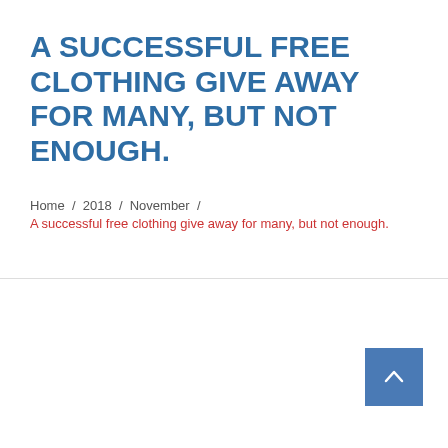A SUCCESSFUL FREE CLOTHING GIVE AWAY FOR MANY, BUT NOT ENOUGH.
Home / 2018 / November /
A successful free clothing give away for many, but not enough.